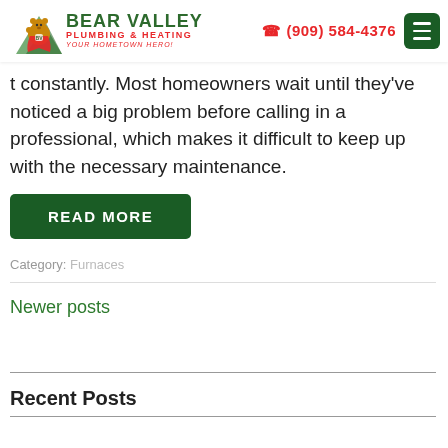Bear Valley Plumbing & Heating — (909) 584-4376
t constantly. Most homeowners wait until they've noticed a big problem before calling in a professional, which makes it difficult to keep up with the necessary maintenance.
READ MORE
Category: Furnaces
Newer posts
Recent Posts